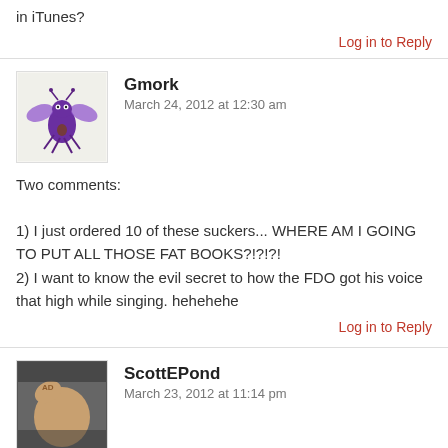in iTunes?
Log in to Reply
Gmork
March 24, 2012 at 12:30 am
Two comments:

1) I just ordered 10 of these suckers... WHERE AM I GOING TO PUT ALL THOSE FAT BOOKS?!?!?!
2) I want to know the evil secret to how the FDO got his voice that high while singing. hehehehe
Log in to Reply
ScottEPond
March 23, 2012 at 11:14 pm
Oh. My!
Can. Not. Wait!